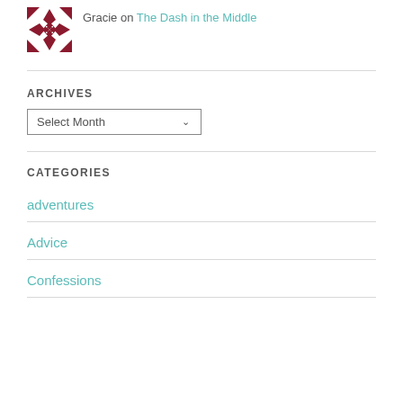[Figure (illustration): Decorative avatar icon with dark red/maroon geometric/floral pattern on white background]
Gracie on The Dash in the Middle
ARCHIVES
Select Month
CATEGORIES
adventures
Advice
Confessions